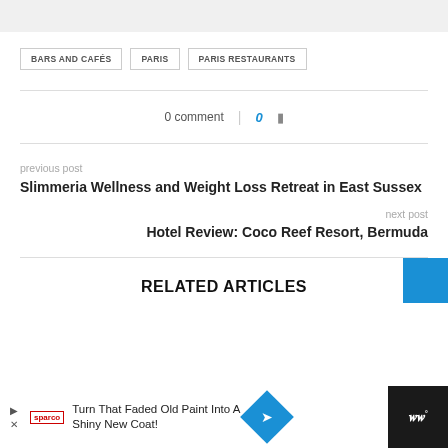BARS AND CAFÉS
PARIS
PARIS RESTAURANTS
0 comment   0
previous post
Slimmeria Wellness and Weight Loss Retreat in East Sussex
next post
Hotel Review: Coco Reef Resort, Bermuda
RELATED ARTICLES
Turn That Faded Old Paint Into A Shiny New Coat!